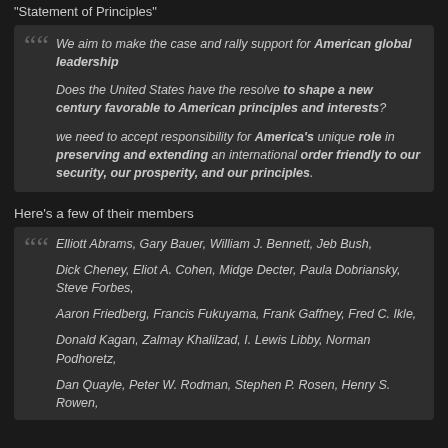"Statement of Principles"
We aim to make the case and rally support for American global leadership

Does the United States have the resolve to shape a new century favorable to American principles and interests?

we need to accept responsibility for America's unique role in preserving and extending an international order friendly to our security, our prosperity, and our principles.
Here's a few of their members
Elliott Abrams, Gary Bauer, William J. Bennett, Jeb Bush,

Dick Cheney, Eliot A. Cohen, Midge Decter, Paula Dobriansky, Steve Forbes,

Aaron Friedberg, Francis Fukuyama, Frank Gaffney, Fred C. Ikle,

Donald Kagan, Zalmay Khalilzad, I. Lewis Libby, Norman Podhoretz,

Dan Quayle, Peter W. Rodman, Stephen P. Rosen, Henry S. Rowen,